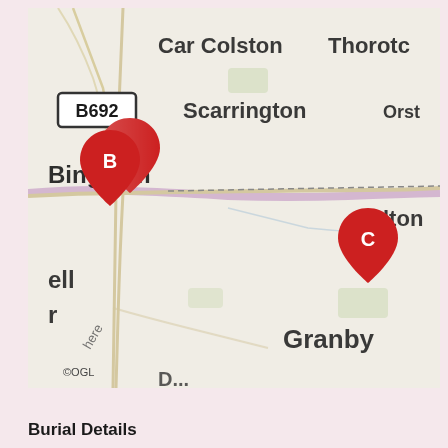[Figure (map): Street map showing the Bingham area with B692 road label, place names Car Colston, Thorotc, Scarrington, Orst, Bingham, lton, ell, Granby, and three red map pins labeled A, B, and C. Pin A and B are clustered near Bingham, Pin C is to the east near 'lton'. Map attribution shows ©OGL.]
Burial Details